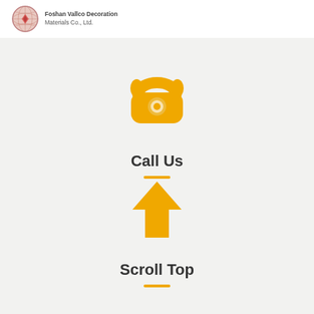Foshan Vallco Decoration Materials Co., Ltd.
[Figure (illustration): Golden/yellow vintage telephone icon]
Call Us
[Figure (illustration): Golden/yellow upward arrow icon]
Scroll Top